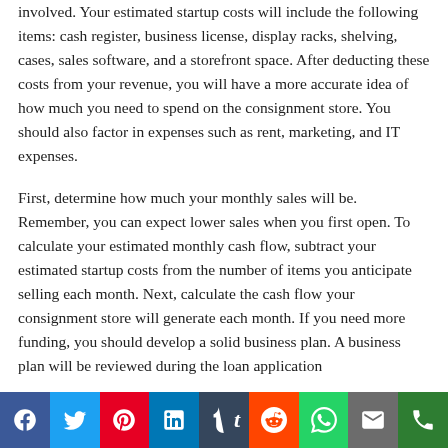involved. Your estimated startup costs will include the following items: cash register, business license, display racks, shelving, cases, sales software, and a storefront space. After deducting these costs from your revenue, you will have a more accurate idea of how much you need to spend on the consignment store. You should also factor in expenses such as rent, marketing, and IT expenses.

First, determine how much your monthly sales will be. Remember, you can expect lower sales when you first open. To calculate your estimated monthly cash flow, subtract your estimated startup costs from the number of items you anticipate selling each month. Next, calculate the cash flow your consignment store will generate each month. If you need more funding, you should develop a solid business plan. A business plan will be reviewed during the loan application
[Figure (infographic): Social media sharing bar with icons for Facebook, Twitter, Pinterest, LinkedIn, Tumblr, Reddit, WhatsApp, Email, and Phone.]